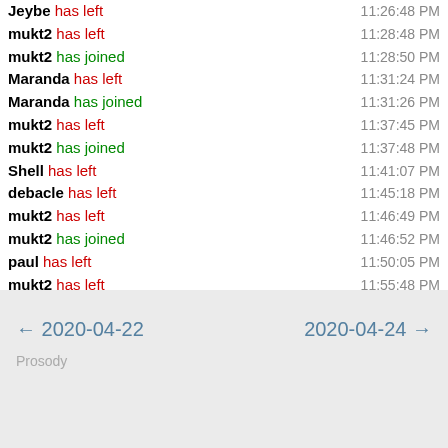Jeybe has left 11:26:48 PM
mukt2 has left 11:28:48 PM
mukt2 has joined 11:28:50 PM
Maranda has left 11:31:24 PM
Maranda has joined 11:31:26 PM
mukt2 has left 11:37:45 PM
mukt2 has joined 11:37:48 PM
Shell has left 11:41:07 PM
debacle has left 11:45:18 PM
mukt2 has left 11:46:49 PM
mukt2 has joined 11:46:52 PM
paul has left 11:50:05 PM
mukt2 has left 11:55:48 PM
mukt2 has joined 11:55:50 PM
mimi89999 has left 11:59:53 PM
← 2020-04-22   2020-04-24 →  Prosody